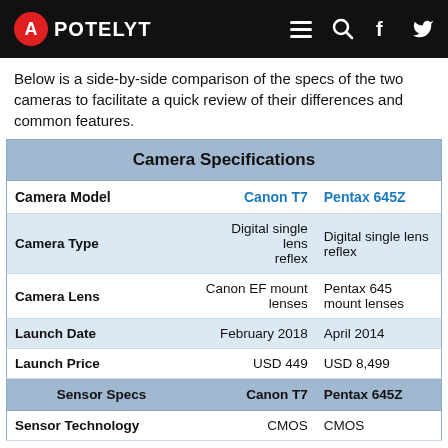APOTELYT
Below is a side-by-side comparison of the specs of the two cameras to facilitate a quick review of their differences and common features.
|  | Canon T7 | Pentax 645Z |
| --- | --- | --- |
| Camera Model | Canon T7 | Pentax 645Z |
| Camera Type | Digital single lens reflex | Digital single lens reflex |
| Camera Lens | Canon EF mount lenses | Pentax 645 mount lenses |
| Launch Date | February 2018 | April 2014 |
| Launch Price | USD 449 | USD 8,499 |
| Sensor Specs | Canon T7 | Pentax 645Z |
| Sensor Technology | CMOS | CMOS |